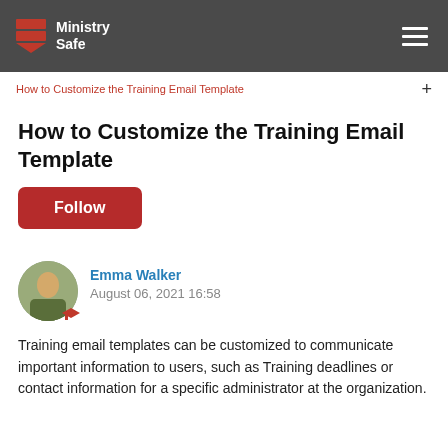Ministry Safe
How to Customize the Training Email Template +
How to Customize the Training Email Template
Follow
Emma Walker
August 06, 2021 16:58
Training email templates can be customized to communicate important information to users, such as Training deadlines or contact information for a specific administrator at the organization.